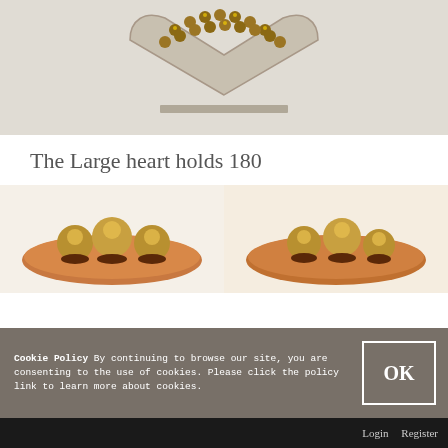[Figure (photo): Photo of a heart-shaped wooden stand/display holding Ferrero Rocher chocolates, viewed from above on a light background]
The Large heart holds 180
[Figure (photo): Two side-by-side photos showing Ferrero Rocher chocolates on a brown plate/surface, close-up view]
Cookie Policy By continuing to browse our site, you are consenting to the use of cookies. Please click the policy link to learn more about cookies.
Login   Register